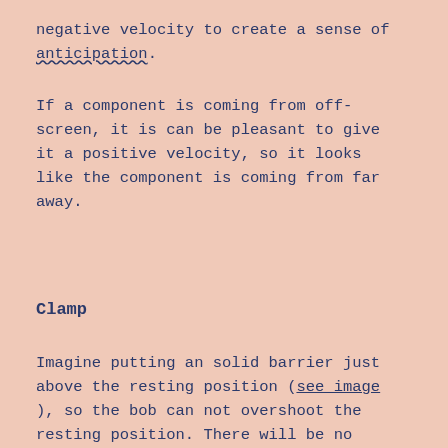negative velocity to create a sense of anticipation.
If a component is coming from off-screen, it is can be pleasant to give it a positive velocity, so it looks like the component is coming from far away.
Clamp
Imagine putting an solid barrier just above the resting position (see_image), so the bob can not overshoot the resting position. There will be no bounce and the animation comes to a stop immediately.
You might want to use this when